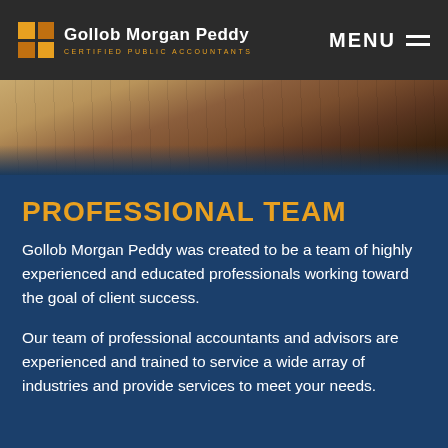Gollob Morgan Peddy — CERTIFIED PUBLIC ACCOUNTANTS | MENU
[Figure (photo): Wood floor/desk surface photo used as decorative banner]
PROFESSIONAL TEAM
Gollob Morgan Peddy was created to be a team of highly experienced and educated professionals working toward the goal of client success.
Our team of professional accountants and advisors are experienced and trained to service a wide array of industries and provide services to meet your needs.